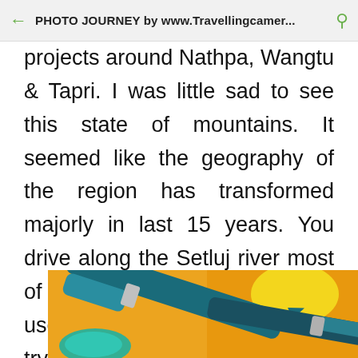PHOTO JOURNEY by www.Travellingcamer...
projects around Nathpa, Wangtu & Tapri. I was little sad to see this state of mountains. It seemed like the geography of the region has transformed majorly in last 15 years. You drive along the Setluj river most of the times and these projects use water pressure of Setluj or try to create different water sources.
[Figure (photo): Partial photo of art supplies (pen/brush) on an orange/yellow background, cropped at the bottom of the page]